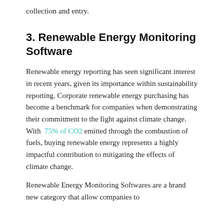collection and entry.
3. Renewable Energy Monitoring Software
Renewable energy reporting has seen significant interest in recent years, given its importance within sustainability reporting. Corporate renewable energy purchasing has become a benchmark for companies when demonstrating their commitment to the fight against climate change. With 75% of CO2 emitted through the combustion of fuels, buying renewable energy represents a highly impactful contribution to mitigating the effects of climate change.
Renewable Energy Monitoring Softwares are a brand new category that allow companies to